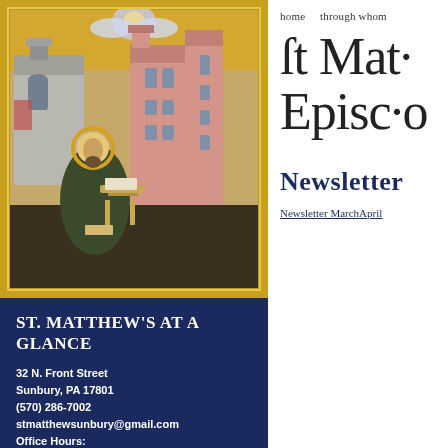[Figure (illustration): Byzantine icon painting of an evangelist (Saint Matthew) seated and writing, with architectural buildings in the background, surrounded by ornate golden border]
St. Matthew's At A Glance
32 N. Front Street
Sunbury, PA 17801
(570) 286-7002
stmatthewsunbury@gmail.com
Office Hours:
home    through whom
st Matt Episcopal
Newsletter
Newsletter MarchApril